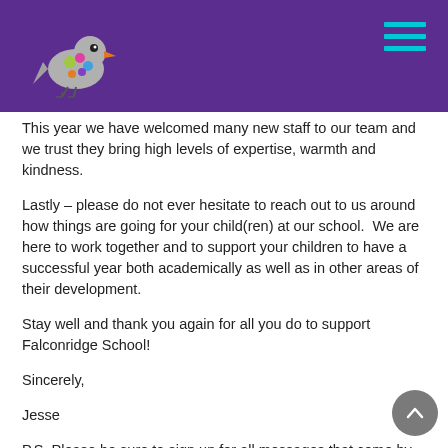[Figure (logo): Falconridge School bird mascot logo — colorful cartoon bird on a purple header background]
This year we have welcomed many new staff to our team and we trust they bring high levels of expertise, warmth and kindness.
Lastly – please do not ever hesitate to reach out to us around how things are going for your child(ren) at our school.  We are here to work together and to support your children to have a successful year both academically as well as in other areas of their development.
Stay well and thank you again for all you do to support Falconridge School!
Sincerely,
Jesse
P.S. Please be sure to sign up for all messages that come by ensuring you have signed up to receive them and also that we have your most up to date contact information.